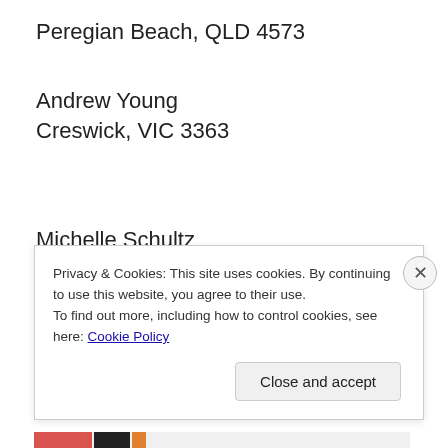Peregian Beach, QLD 4573
Andrew Young
Creswick, VIC 3363
Michelle Schultz
Glenwood, NSW 2768
Kareem Ah
Privacy & Cookies: This site uses cookies. By continuing to use this website, you agree to their use.
To find out more, including how to control cookies, see here: Cookie Policy
Close and accept